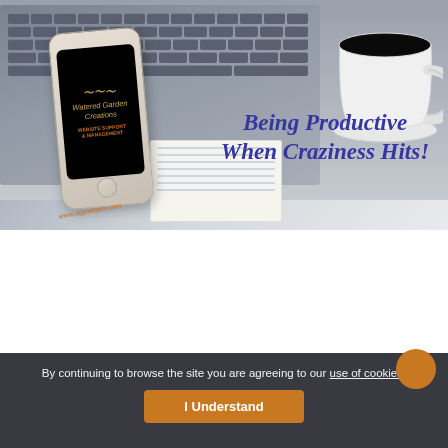[Figure (photo): Hero image showing a laptop with keyboard, a smartphone displaying Watered Garden Creations website support & management logo, a white coffee cup filled with black coffee, and a notepad. Text overlay reads 'Being Productive When Craziness Hits!' in italic dark blue/purple. URL www.wgcreates.com shown at bottom-left of image.]
Being Productive When Craziness Hits!
By continuing to browse the site you are agreeing to our use of cookies.
I Understand